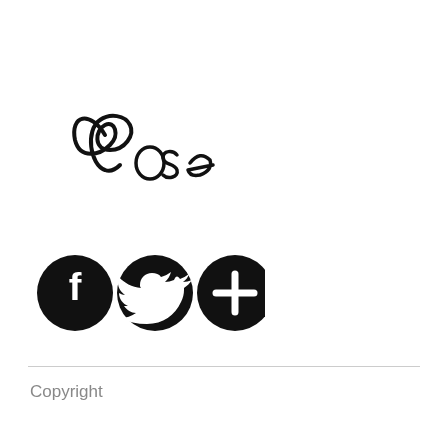[Figure (illustration): Handwritten cursive signature/logo reading 'Rose' in black ink on white background]
[Figure (infographic): Three black circular social media icon buttons: Facebook (F), Twitter (bird), and a plus (+) button]
Copyright